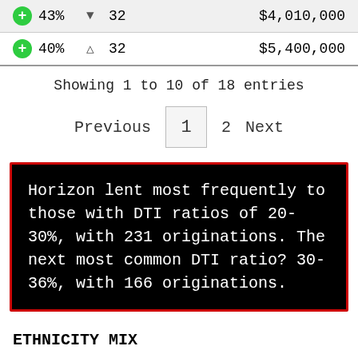| 43% | ▼ | 32 | $4,010,000 |
| 40% | ▽ | 32 | $5,400,000 |
Showing 1 to 10 of 18 entries
Previous  1  2  Next
Horizon lent most frequently to those with DTI ratios of 20-30%, with 231 originations. The next most common DTI ratio? 30-36%, with 166 originations.
ETHNICITY MIX